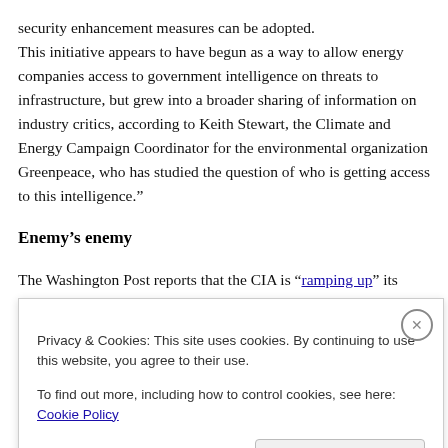security enhancement measures can be adopted. This initiative appears to have begun as a way to allow energy companies access to government intelligence on threats to infrastructure, but grew into a broader sharing of information on industry critics, according to Keith Stewart, the Climate and Energy Campaign Coordinator for the environmental organization Greenpeace, who has studied the question of who is getting access to this intelligence.”
Enemy’s enemy
The Washington Post reports that the CIA is “ramping up” its efforts to train Syrian rebels it considers moderate:
Privacy & Cookies: This site uses cookies. By continuing to use this website, you agree to their use.
To find out more, including how to control cookies, see here: Cookie Policy